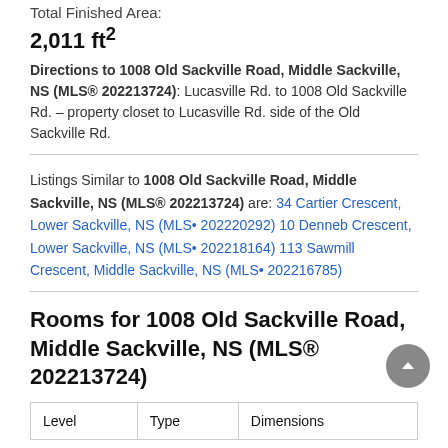Total Finished Area:
2,011 ft²
Directions to 1008 Old Sackville Road, Middle Sackville, NS (MLS® 202213724): Lucasville Rd. to 1008 Old Sackville Rd. – property closet to Lucasville Rd. side of the Old Sackville Rd.
Listings Similar to 1008 Old Sackville Road, Middle Sackville, NS (MLS® 202213724) are: 34 Cartier Crescent, Lower Sackville, NS (MLS• 202220292) 10 Denneb Crescent, Lower Sackville, NS (MLS• 202218164) 113 Sawmill Crescent, Middle Sackville, NS (MLS• 202216785)
Rooms for 1008 Old Sackville Road, Middle Sackville, NS (MLS® 202213724)
| Level | Type | Dimensions |
| --- | --- | --- |